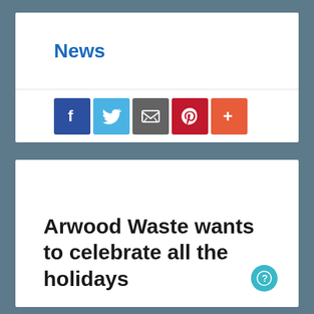News
[Figure (other): Social media share buttons: Facebook, Twitter, Email, Pinterest, More (+)]
Arwood Waste wants to celebrate all the holidays